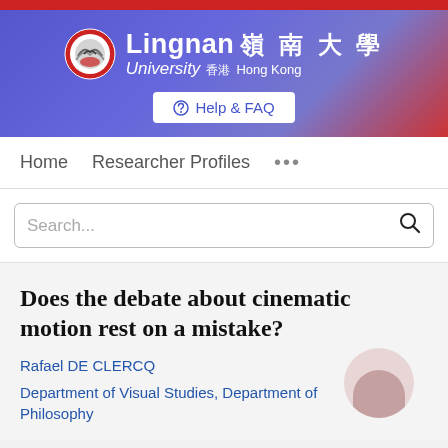[Figure (logo): Lingnan University Hong Kong logo and banner with circular red and grey emblem, university name in English and Chinese characters, Help & FAQ button]
Home   Researcher Profiles   ...
Search...
Does the debate about cinematic motion rest on a mistake?
Rafael DE CLERCQ
Department of Visual Studies, Department of Philosophy